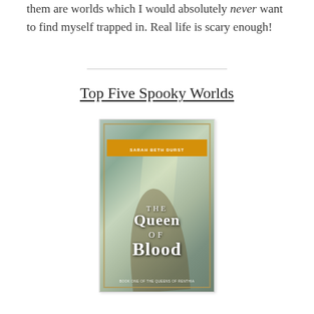them are worlds which I would absolutely never want to find myself trapped in. Real life is scary enough!
Top Five Spooky Worlds
[Figure (illustration): Book cover of 'The Queen of Blood' by Sarah Beth Durst. Fantasy forest scene with light beams through trees, ornate golden border, orange author banner at top, white title text.]